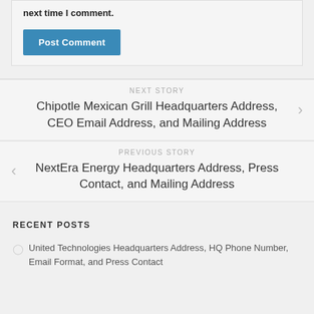next time I comment.
Post Comment
NEXT STORY
Chipotle Mexican Grill Headquarters Address, CEO Email Address, and Mailing Address
PREVIOUS STORY
NextEra Energy Headquarters Address, Press Contact, and Mailing Address
RECENT POSTS
United Technologies Headquarters Address, HQ Phone Number, Email Format, and Press Contact